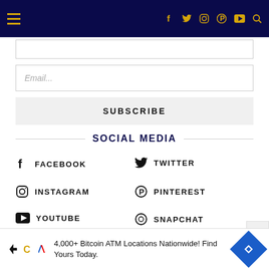Navigation bar with hamburger menu and social media icons (Facebook, Twitter, Instagram, Pinterest, YouTube, Search)
[Figure (screenshot): Email input field placeholder]
[Figure (screenshot): Email input field with placeholder text 'Email...']
SUBSCRIBE
SOCIAL MEDIA
FACEBOOK
TWITTER
INSTAGRAM
PINTEREST
YOUTUBE
SNAPCHAT
4,000+ Bitcoin ATM Locations Nationwide! Find Yours Today.